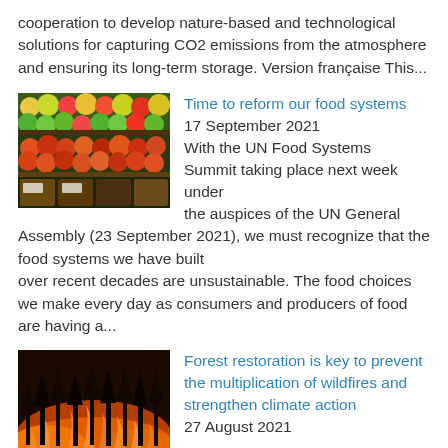cooperation to develop nature-based and technological solutions for capturing CO2 emissions from the atmosphere and ensuring its long-term storage. Version française This...
[Figure (photo): Photo of a colorful fruit and produce market display with apples, pears and other fruits in crates]
Time to reform our food systems
17 September 2021
With the UN Food Systems Summit taking place next week under the auspices of the UN General Assembly (23 September 2021), we must recognize that the food systems we have built over recent decades are unsustainable. The food choices we make every day as consumers and producers of food are having a...
[Figure (photo): Photo of a forest fire at night with trees silhouetted against orange flames]
Forest restoration is key to prevent the multiplication of wildfires and strengthen climate action
27 August 2021